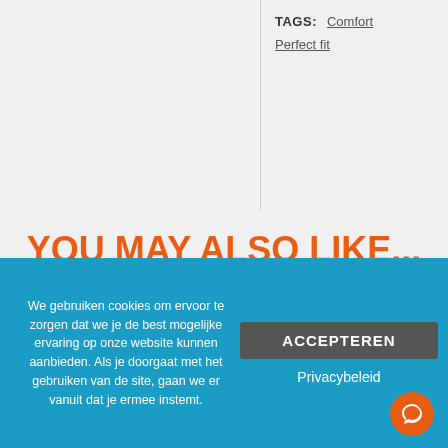TAGS: Comfort Perfect fit
YOU MAY ALSO LIKE...
[Figure (photo): Product shoe image in a white card]
We gebruiken cookies om ervoor te zorgen dat we je de best mogelijke ervaring op onze website kunnen aanbieden. Als je doorgaat met het gebruiken van de site, gaan we er vanuit dat je ermee instemt.
ACCEPTEREN
Privacybeleid